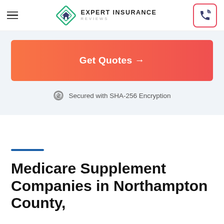Expert Insurance Reviews
[Figure (screenshot): Get Quotes button - orange/red gradient rectangular button with white bold text 'Get Quotes →']
Secured with SHA-256 Encryption
Medicare Supplement Companies in Northampton County,